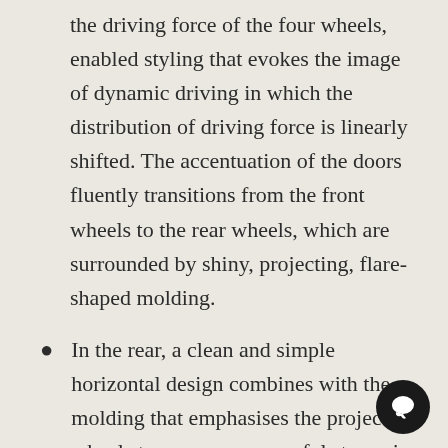the driving force of the four wheels, enabled styling that evokes the image of dynamic driving in which the distribution of driving force is linearly shifted. The accentuation of the doors fluently transitions from the front wheels to the rear wheels, which are surrounded by shiny, projecting, flare-shaped molding.
In the rear, a clean and simple horizontal design combines with the molding that emphasises the projecting wheels to express a powerful stance in support of a torque-strong driving force. Also, horizontally displaying “LEXUS” in the continuous slender rear combination lamp contributes to styling that, along with the front of the vehicle,